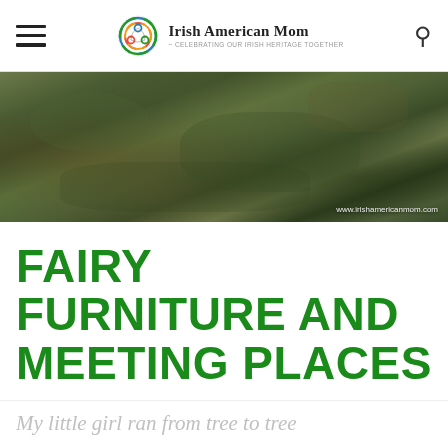Irish American Mom - Celebrating Our Irish Heritage Together
[Figure (photo): Close-up photograph of mossy green rocks or stones with the watermark www.irishamericanmom.com in the bottom right corner]
FAIRY FURNITURE AND MEETING PLACES
My little girl ran from tree to tree